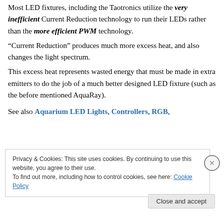Most LED fixtures, including the Taotronics utilize the very inefficient Current Reduction technology to run their LEDs rather than the more efficient PWM technology.
“Current Reduction” produces much more excess heat, and also changes the light spectrum.
This excess heat represents wasted energy that must be made in extra emitters to do the job of a much better designed LED fixture (such as the before mentioned AquaRay).
See also Aquarium LED Lights, Controllers, RGB,
Privacy & Cookies: This site uses cookies. By continuing to use this website, you agree to their use.
To find out more, including how to control cookies, see here: Cookie Policy
Close and accept